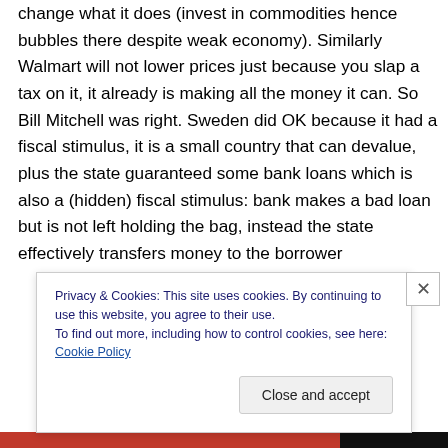change what it does (invest in commodities hence bubbles there despite weak economy). Similarly Walmart will not lower prices just because you slap a tax on it, it already is making all the money it can. So Bill Mitchell was right. Sweden did OK because it had a fiscal stimulus, it is a small country that can devalue, plus the state guaranteed some bank loans which is also a (hidden) fiscal stimulus: bank makes a bad loan but is not left holding the bag, instead the state effectively transfers money to the borrower
Privacy & Cookies: This site uses cookies. By continuing to use this website, you agree to their use.
To find out more, including how to control cookies, see here: Cookie Policy
Close and accept